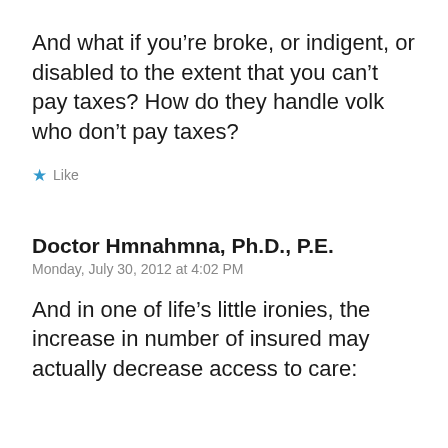And what if you’re broke, or indigent, or disabled to the extent that you can’t pay taxes? How do they handle volk who don’t pay taxes?
★ Like
Doctor Hmnahmna, Ph.D., P.E.
Monday, July 30, 2012 at 4:02 PM
And in one of life’s little ironies, the increase in number of insured may actually decrease access to care: